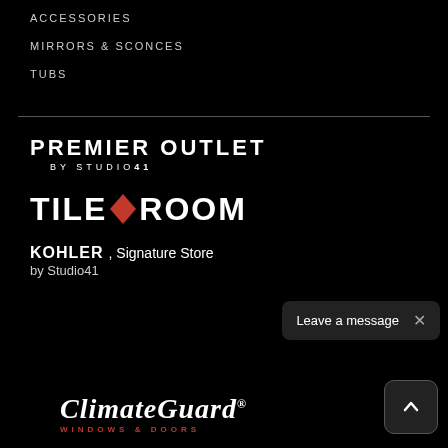ACCESSORIES
MIRRORS & SCONCES
TUBS
[Figure (logo): Premier Outlet by Studio41 logo]
[Figure (logo): TileRoom logo with red diamond]
[Figure (logo): KOHLER Signature Store by Studio41 logo]
Leave a message
[Figure (logo): ClimateGuard Windows & Doors logo]